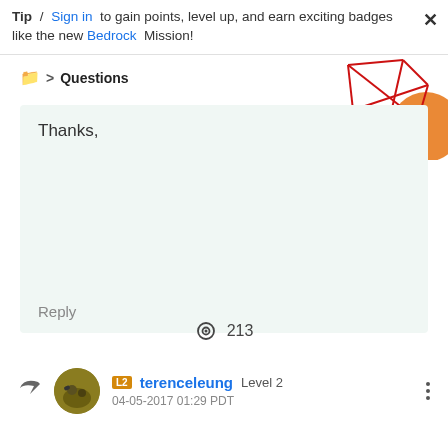Tip / Sign in to gain points, level up, and earn exciting badges like the new Bedrock Mission!
Questions
[Figure (illustration): Decorative geometric red polygon lines and orange circle shape in top-right corner]
Thanks,
213 views
0 replies
0 Likes
Translate
Reply
L2 terenceleung Level 2
04-05-2017 01:29 PDT